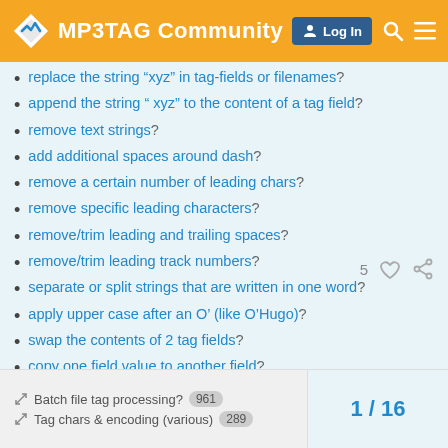MP3TAG Community | Log In
replace the string "xyz" in tag-fields or filenames?
append the string " xyz" to the content of a tag field?
remove text strings?
add additional spaces around dash?
remove a certain number of leading chars?
remove specific leading characters?
remove/trim leading and trailing spaces?
remove/trim leading track numbers?
separate or split strings that are written in one word?
apply upper case after an O' (like O'Hugo)?
swap the contents of 2 tag fields?
copy one field value to another field?
organize actions?
Batch file tag processing? 961   1 / 16